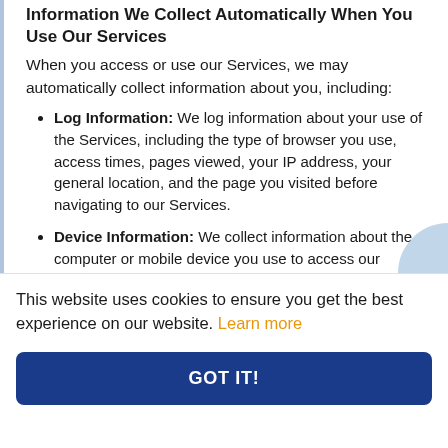Information We Collect Automatically When You Use Our Services
When you access or use our Services, we may automatically collect information about you, including:
Log Information: We log information about your use of the Services, including the type of browser you use, access times, pages viewed, your IP address, your general location, and the page you visited before navigating to our Services.
Device Information: We collect information about the computer or mobile device you use to access our Services, including the hardware model, operating system and version.
This website uses cookies to ensure you get the best experience on our website. Learn more
GOT IT!